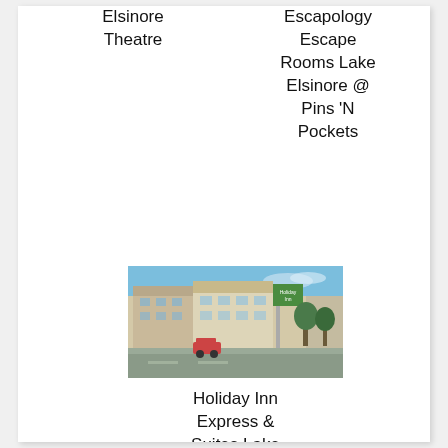Elsinore Theatre
Escapology Escape Rooms Lake Elsinore @ Pins 'N Pockets
[Figure (photo): Exterior photo of Holiday Inn Express & Suites Lake Elsinore hotel building at dusk with parking lot and signage visible]
Holiday Inn Express & Suites Lake Elsinore, an IHG Hotel